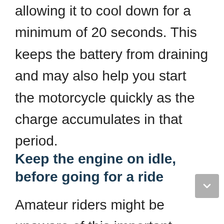allowing it to cool down for a minimum of 20 seconds. This keeps the battery from draining and may also help you start the motorcycle quickly as the charge accumulates in that period.
Keep the engine on idle, before going for a ride
Amateur riders might be unaware of this important tip initially. After